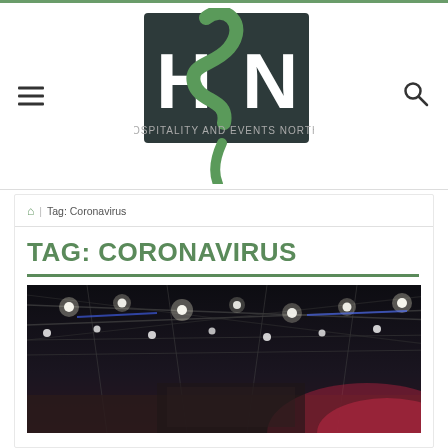[Figure (logo): HEN - Hospitality and Events North logo with green stylized letters on dark background]
🏠 | Tag: Coronavirus
TAG: CORONAVIRUS
[Figure (photo): Interior of an events venue showing ceiling with stage lighting rigs, spotlights illuminating a dark exhibition hall with pink/red accent lighting in the background]